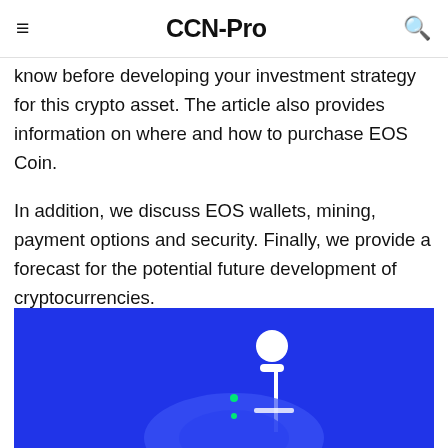CCN-Pro
know before developing your investment strategy for this crypto asset. The article also provides information on where and how to purchase EOS Coin.

In addition, we discuss EOS wallets, mining, payment options and security. Finally, we provide a forecast for the potential future development of cryptocurrencies.
[Figure (illustration): Blue background illustration showing a person (white silhouette with head and shoulders) standing at a podium or display, with digital/cryptocurrency themed graphic elements in lighter blue tones at the bottom.]